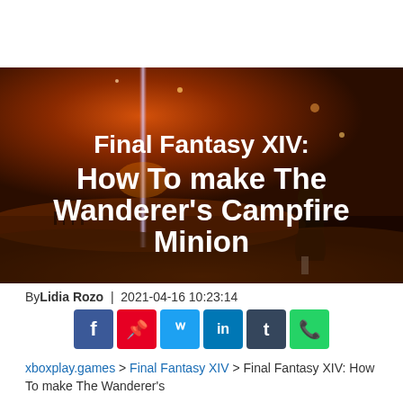[Figure (photo): Final Fantasy XIV game screenshot showing a character standing in a dark reddish landscape with dramatic lighting and a beam of light in the background. White bold text overlaid reads: Final Fantasy XIV: How To make The Wanderer's Campfire Minion]
By Lidia Rozo | 2021-04-16 10:23:14
[Figure (infographic): Social media share buttons: Facebook (blue), Pinterest (red), Twitter (light blue), LinkedIn (dark blue), Tumblr (dark slate), WhatsApp (green)]
xboxplay.games > Final Fantasy XIV > Final Fantasy XIV: How To make The Wanderer's